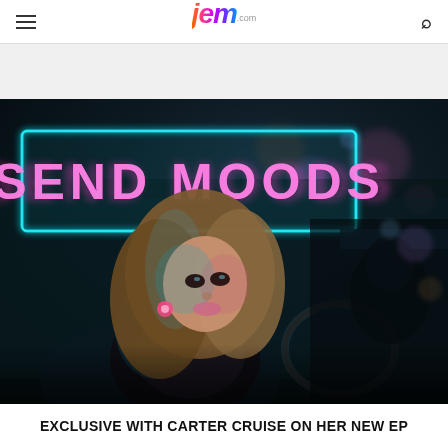jem.com
[Figure (photo): Album cover / promotional photo for 'Send Moods' EP by Carter Cruise. A woman with long blonde hair sits in a car at night with neon lighting. Above her is a neon sign reading 'SEND MOODS' in pink/magenta letters inside a cyan/teal rectangular neon frame. The background shows dark cyan and purple city lights.]
EXCLUSIVE WITH CARTER CRUISE ON HER NEW EP